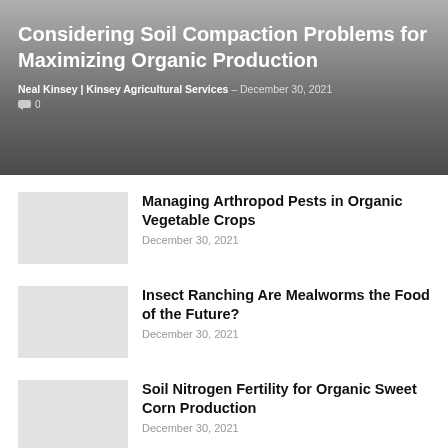Considering Soil Compaction Problems for Maximizing Organic Production
Neal Kinsey | Kinsey Agricultural Services – December 30, 2021
💬 0
Managing Arthropod Pests in Organic Vegetable Crops
December 30, 2021
Insect Ranching Are Mealworms the Food of the Future?
December 30, 2021
Soil Nitrogen Fertility for Organic Sweet Corn Production
December 30, 2021
New Berkeley Urban Ag Ordinance Cultivates Growing Food Together